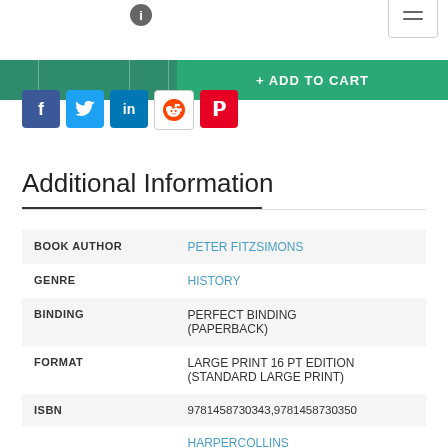[Figure (screenshot): Info icon (i) in a circle and hamburger menu button]
[Figure (screenshot): Green cart bar with ADD TO CART button]
[Figure (screenshot): Social media share icons: Facebook, Twitter, LinkedIn, Reddit, Pinterest]
Additional Information
|  |  |
| --- | --- |
| BOOK AUTHOR | PETER FITZSIMONS |
| GENRE | HISTORY |
| BINDING | PERFECT BINDING (PAPERBACK) |
| FORMAT | LARGE PRINT 16 PT EDITION (STANDARD LARGE PRINT) |
| ISBN | 9781458730343,9781458730350 |
|  | HARPERCOLLINS |